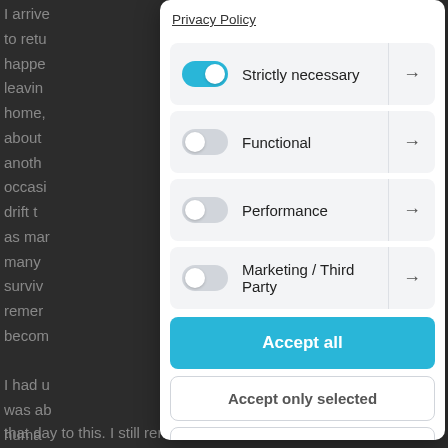I arrive to retu happe leavin home, about anoth occasi drift t as mar many surviv remer becom
I had u was ab huma that day to this. I still remember what I felt like
Privacy Policy
Strictly necessary →
Functional →
Performance →
Marketing / Third Party →
Accept all
Accept only selected
Reject all